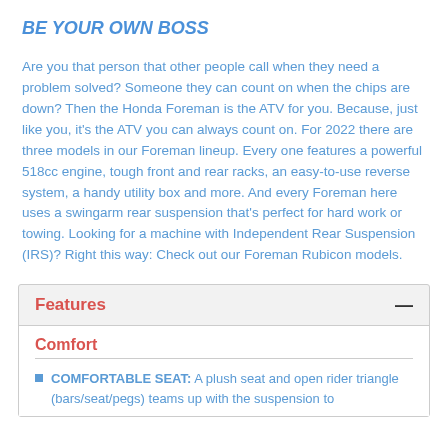BE YOUR OWN BOSS
Are you that person that other people call when they need a problem solved? Someone they can count on when the chips are down? Then the Honda Foreman is the ATV for you. Because, just like you, it's the ATV you can always count on. For 2022 there are three models in our Foreman lineup. Every one features a powerful 518cc engine, tough front and rear racks, an easy-to-use reverse system, a handy utility box and more. And every Foreman here uses a swingarm rear suspension that's perfect for hard work or towing. Looking for a machine with Independent Rear Suspension (IRS)? Right this way: Check out our Foreman Rubicon models.
Features
Comfort
COMFORTABLE SEAT: A plush seat and open rider triangle (bars/seat/pegs) teams up with the suspension to